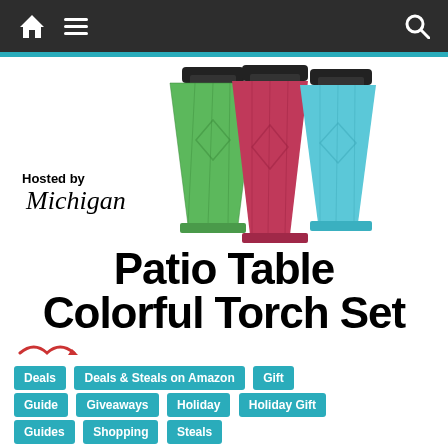Navigation bar with home, menu, and search icons
[Figure (photo): Three colorful decorative glass torch/lantern bottles: green, red/pink, and light blue, each with black cap tops, arranged together]
Hosted by Michigan
Patio Table Colorful Torch Set
Deals
Deals & Steals on Amazon
Gift Guide
Giveaways
Holiday
Holiday Gift Guides
Shopping
Steals
Patio Table Colorful Torch Set #Giveaway!!